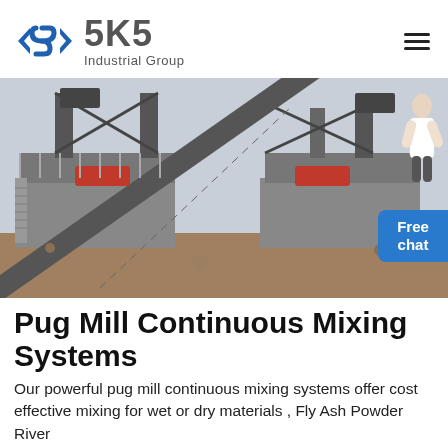[Figure (logo): SKS Industrial Group logo with blue angular S symbol and grey text]
[Figure (photo): Industrial mining/crushing plant with conveyor belts and heavy machinery on an outdoor site]
Pug Mill Continuous Mixing Systems
Our powerful pug mill continuous mixing systems offer cost effective mixing for wet or dry materials , Fly Ash Powder River